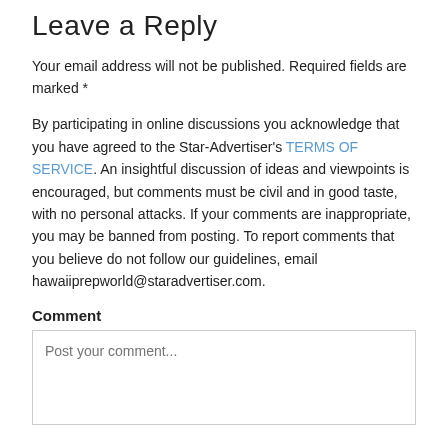Leave a Reply
Your email address will not be published. Required fields are marked *
By participating in online discussions you acknowledge that you have agreed to the Star-Advertiser's TERMS OF SERVICE. An insightful discussion of ideas and viewpoints is encouraged, but comments must be civil and in good taste, with no personal attacks. If your comments are inappropriate, you may be banned from posting. To report comments that you believe do not follow our guidelines, email hawaiiprepworld@staradvertiser.com.
Comment
Post your comment...